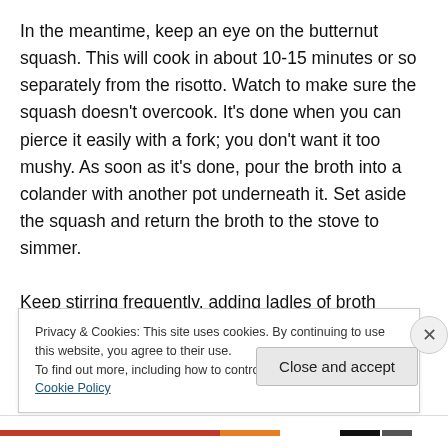In the meantime, keep an eye on the butternut squash. This will cook in about 10-15 minutes or so separately from the risotto. Watch to make sure the squash doesn't overcook. It's done when you can pierce it easily with a fork; you don't want it too mushy. As soon as it's done, pour the broth into a colander with another pot underneath it. Set aside the squash and return the broth to the stove to simmer.
Keep stirring frequently, adding ladles of broth without squash until rice is tender. As rice gets close to being
Privacy & Cookies: This site uses cookies. By continuing to use this website, you agree to their use.
To find out more, including how to control cookies, see here: Cookie Policy
Close and accept